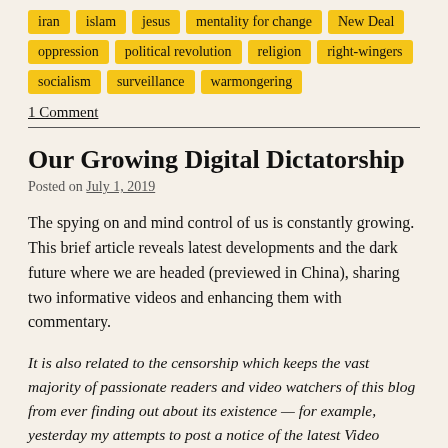iran
islam
jesus
mentality for change
New Deal
oppression
political revolution
religion
right-wingers
socialism
surveillance
warmongering
1 Comment
Our Growing Digital Dictatorship
Posted on July 1, 2019
The spying on and mind control of us is constantly growing. This brief article reveals latest developments and the dark future where we are headed (previewed in China), sharing two informative videos and enhancing them with commentary.
It is also related to the censorship which keeps the vast majority of passionate readers and video watchers of this blog from ever finding out about its existence — for example, yesterday my attempts to post a notice of the latest Video Weekend post on